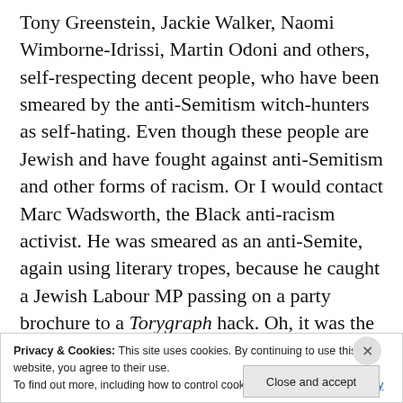Tony Greenstein, Jackie Walker, Naomi Wimborne-Idrissi, Martin Odoni and others, self-respecting decent people, who have been smeared by the anti-Semitism witch-hunters as self-hating. Even though these people are Jewish and have fought against anti-Semitism and other forms of racism. Or I would contact Marc Wadsworth, the Black anti-racism activist. He was smeared as an anti-Semite, again using literary tropes, because he caught a Jewish Labour MP passing on a party brochure to a Torygraph hack. Oh, it was the trope of the disloyal Jew, they claimed. This was despite the fact that Wadsworth
Privacy & Cookies: This site uses cookies. By continuing to use this website, you agree to their use. To find out more, including how to control cookies, see here: Cookie Policy
Close and accept